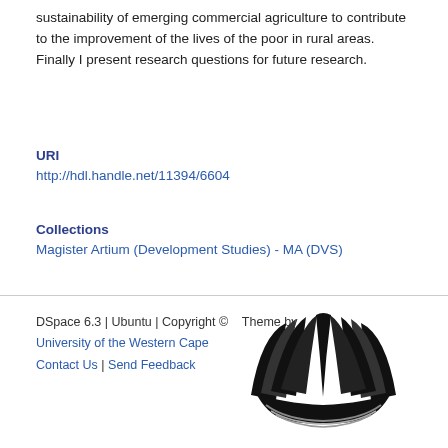sustainability of emerging commercial agriculture to contribute to the improvement of the lives of the poor in rural areas. Finally I present research questions for future research.
URI
http://hdl.handle.net/11394/6604
Collections
Magister Artium (Development Studies) - MA (DVS)
DSpace 6.3 | Ubuntu | Copyright © Theme by University of the Western Cape Contact Us | Send Feedback
[Figure (logo): UWC Library logo with stylized black book/hands graphic above text 'UWC LIBRARY' and tagline 'empowering through knowledge' in orange]